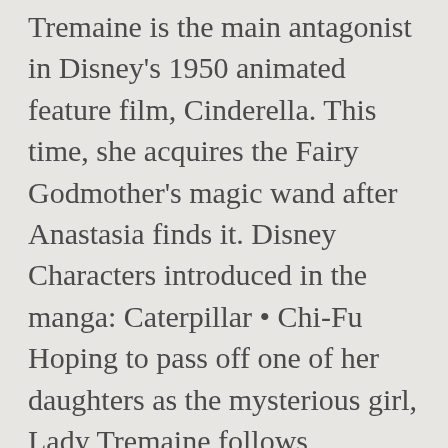Tremaine is the main antagonist in Disney's 1950 animated feature film, Cinderella. This time, she acquires the Fairy Godmother's magic wand after Anastasia finds it. Disney Characters introduced in the manga: Caterpillar • Chi-Fu Hoping to pass off one of her daughters as the mysterious girl, Lady Tremaine follows Cinderella up to the attic and locks her in her room, putting the key in her pocket. The poor blonde looks with sadness at her stepfamily as they leave their property on the carriage, headed to the prince's ball. Pinocchio: Pinocchio • Jiminy Cricket • Figaro • Cleo • Geppetto • Blue Fairy • Honest John and Gideon • Lampwick • Monstro After they come up with nothing,